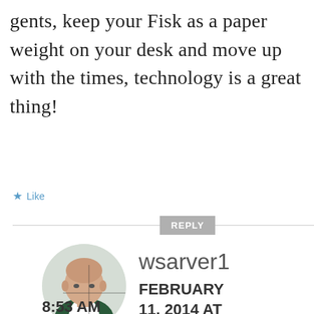gents, keep your Fisk as a paper weight on your desk and move up with the times, technology is a great thing!
★ Like
REPLY
[Figure (photo): Circular avatar photo of a man, bald with a green and white jacket, against a light background]
wsarver1
FEBRUARY 11, 2014 AT
8:53 AM